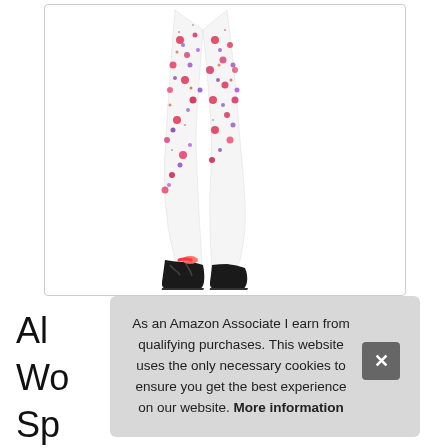[Figure (photo): Product photo of floral print leggings worn by a person. The leggings have a white base with pink, red, and purple floral/cherry blossom pattern. The person is wearing black high-top sneakers. Only the legs are visible from approximately mid-thigh down.]
Ala
Wo
Sp
Pink
As an Amazon Associate I earn from qualifying purchases. This website uses the only necessary cookies to ensure you get the best experience on our website. More information